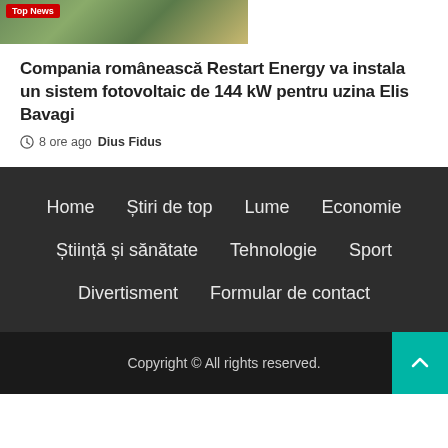[Figure (photo): Aerial photo of solar panels / industrial site with Top News badge overlay]
Compania românească Restart Energy va instala un sistem fotovoltaic de 144 kW pentru uzina Elis Bavagi
8 ore ago  Dius Fidus
Home
Știri de top
Lume
Economie
Știință și sănătate
Tehnologie
Sport
Divertisment
Formular de contact
Copyright © All rights reserved.